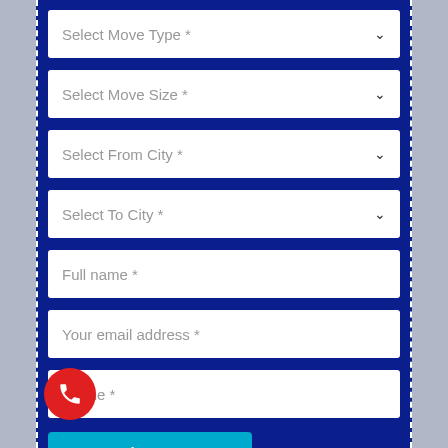Select Move Type *
Select Move Size *
Select From City *
Select To City *
Full name *
Your email address *
Phone *
Send Message